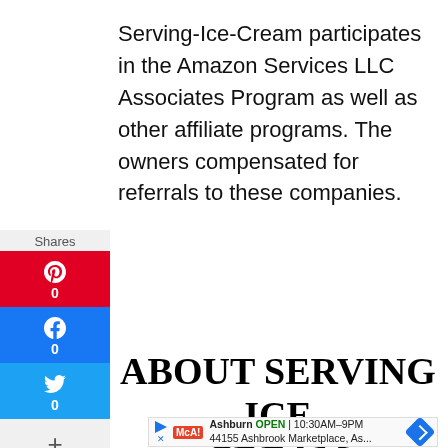Serving-Ice-Cream participates in the Amazon Services LLC Associates Program as well as other affiliate programs. The owners compensated for referrals to these companies.
[Figure (infographic): Social sharing sidebar with Pinterest (0 shares), Facebook (0 shares), Twitter (0 shares), and a + more button. Shows '0 Shares' label at top.]
ABOUT SERVING ICE CREAM
[Figure (infographic): Ad banner showing McDonald's location: Ashburn OPEN 10:30AM-9PM, 44155 Ashbrook Marketplace, As... with a blue navigation arrow icon.]